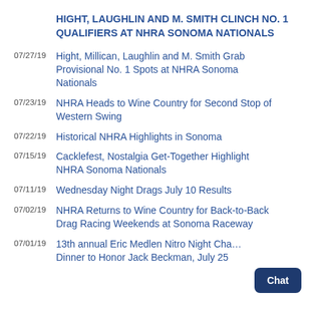HIGHT, LAUGHLIN AND M. SMITH CLINCH NO. 1 QUALIFIERS AT NHRA SONOMA NATIONALS
07/27/19 Hight, Millican, Laughlin and M. Smith Grab Provisional No. 1 Spots at NHRA Sonoma Nationals
07/23/19 NHRA Heads to Wine Country for Second Stop of Western Swing
07/22/19 Historical NHRA Highlights in Sonoma
07/15/19 Cacklefest, Nostalgia Get-Together Highlight NHRA Sonoma Nationals
07/11/19 Wednesday Night Drags July 10 Results
07/02/19 NHRA Returns to Wine Country for Back-to-Back Drag Racing Weekends at Sonoma Raceway
07/01/19 13th annual Eric Medlen Nitro Night Charity Dinner to Honor Jack Beckman, July 25